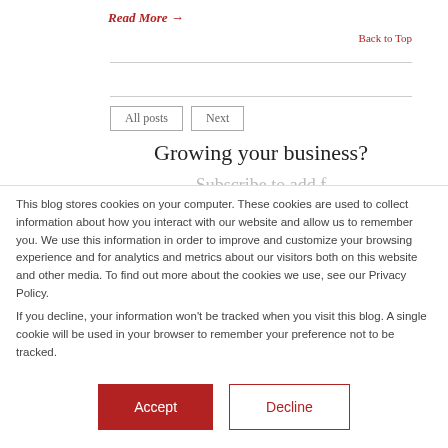Read More →
Back to Top
Growing your business?
Subscribe to add f…
This blog stores cookies on your computer. These cookies are used to collect information about how you interact with our website and allow us to remember you. We use this information in order to improve and customize your browsing experience and for analytics and metrics about our visitors both on this website and other media. To find out more about the cookies we use, see our Privacy Policy.
If you decline, your information won't be tracked when you visit this blog. A single cookie will be used in your browser to remember your preference not to be tracked.
Accept
Decline